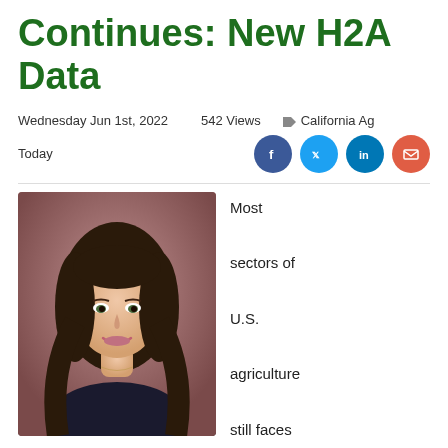Continues: New H2A Data
Wednesday Jun 1st, 2022   542 Views   California Ag Today
[Figure (photo): Portrait photo of a young woman with long dark hair, smiling, against a brown background]
Most sectors of U.S. agriculture still faces labor shortages, new data confirms.